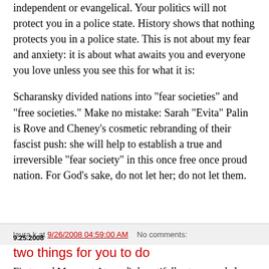independent or evangelical. Your politics will not protect you in a police state. History shows that nothing protects you in a police state. This is not about my fear and anxiety: it is about what awaits you and everyone you love unless you see this for what it is:
Scharansky divided nations into "fear societies" and "free societies." Make no mistake: Sarah "Evita" Palin is Rove and Cheney's cosmetic rebranding of their fascist push: she will help to establish a true and irreversible "fear society" in this once free once proud nation. For God's sake, do not let her; do not let them.
laura k at 9/26/2008 04:59:00 AM   No comments:
9.25.2008
two things for you to do
First, read Margaret Atwood's beautifully strong and clear